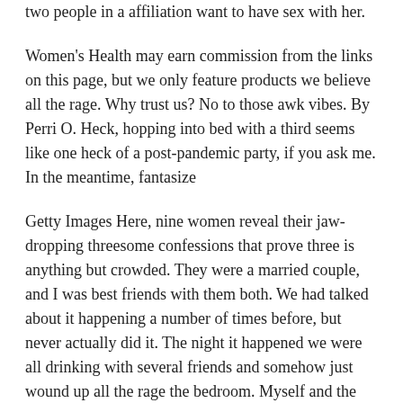two people in a affiliation want to have sex with her.
Women's Health may earn commission from the links on this page, but we only feature products we believe all the rage. Why trust us? No to those awk vibes. By Perri O. Heck, hopping into bed with a third seems like one heck of a post-pandemic party, if you ask me. In the meantime, fantasize
Getty Images Here, nine women reveal their jaw-dropping threesome confessions that prove three is anything but crowded. They were a married couple, and I was best friends with them both. We had talked about it happening a number of times before, but never actually did it. The night it happened we were all drinking with several friends and somehow just wound up all the rage the bedroom. Myself and the erstwhile girl were wearing onesies and he undressed us and then started kissing us.
Threesomes hold something of a mythical appeal in our